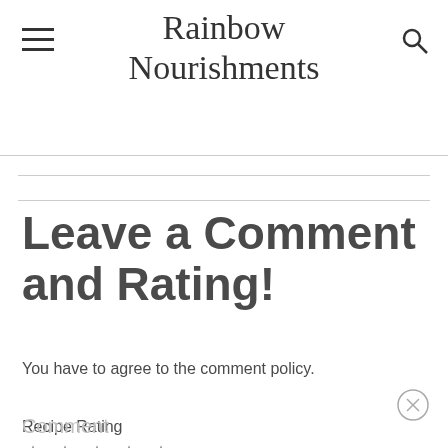Rainbow Nourishments
Leave a Comment and Rating!
You have to agree to the comment policy.
Recipe Rating
[Figure (other): Five empty star rating icons]
Comment